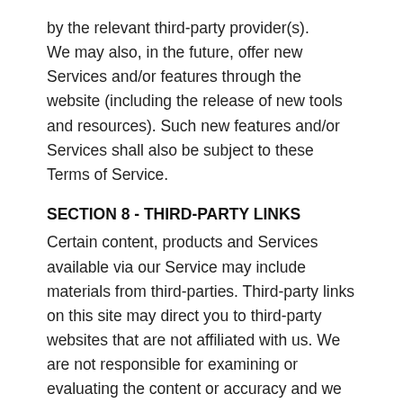by the relevant third-party provider(s). We may also, in the future, offer new Services and/or features through the website (including the release of new tools and resources). Such new features and/or Services shall also be subject to these Terms of Service.
SECTION 8 - THIRD-PARTY LINKS
Certain content, products and Services available via our Service may include materials from third-parties. Third-party links on this site may direct you to third-party websites that are not affiliated with us. We are not responsible for examining or evaluating the content or accuracy and we do not warrant and will not have any liability or responsibility for any third-party materials or websites, or for any other materials, products, or Services of third-parties. We are not liable for any harm or damages related to the